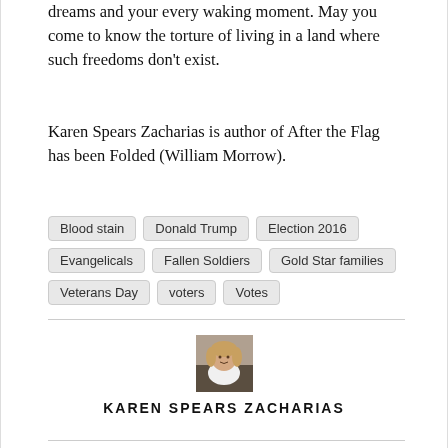dreams and your every waking moment. May you come to know the torture of living in a land where such freedoms don't exist.
Karen Spears Zacharias is author of After the Flag has been Folded (William Morrow).
Blood stain
Donald Trump
Election 2016
Evangelicals
Fallen Soldiers
Gold Star families
Veterans Day
voters
Votes
[Figure (photo): Headshot photo of Karen Spears Zacharias, a woman in a white top]
KAREN SPEARS ZACHARIAS